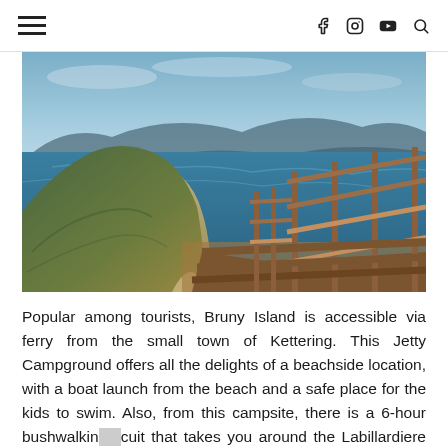≡  f  ⬛  ▶  🔍
[Figure (photo): Aerial view of Bruny Island showing wooden boardwalk stairs in the foreground leading down a steep dune, with a sandy isthmus and blue ocean waters visible in the background, green vegetation on hillsides.]
Popular among tourists, Bruny Island is accessible via ferry from the small town of Kettering. This Jetty Campground offers all the delights of a beachside location, with a boat launch from the beach and a safe place for the kids to swim. Also, from this campsite, there is a 6-hour bushwalking circuit that takes you around the Labillardiere Peninsula. Undeniably, this campsite provides incredible access to the spectacular